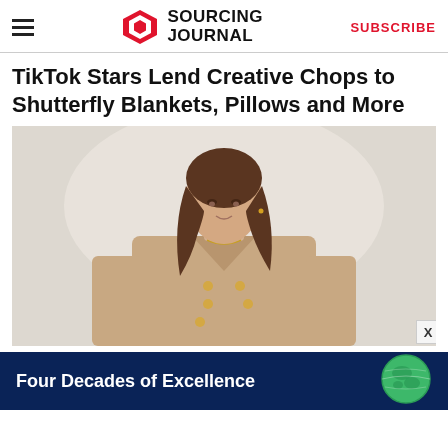Sourcing Journal | SUBSCRIBE
TikTok Stars Lend Creative Chops to Shutterfly Blankets, Pillows and More
[Figure (photo): Woman with long brown hair wearing a tan double-breasted blazer with gold buttons, posed against a light background in a fashion editorial style photo.]
[Figure (infographic): Dark navy blue advertisement banner reading 'Four Decades of Excellence' with a green globe illustration on the right side.]